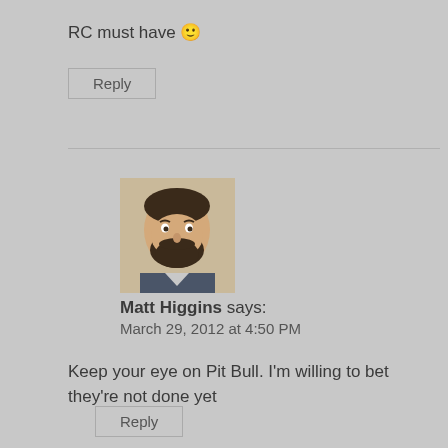RC must have 🙂
Reply
Matt Higgins says:
March 29, 2012 at 4:50 PM
[Figure (photo): Profile photo of Matt Higgins, a man with a beard wearing a dark jacket]
Keep your eye on Pit Bull. I'm willing to bet they're not done yet
Reply